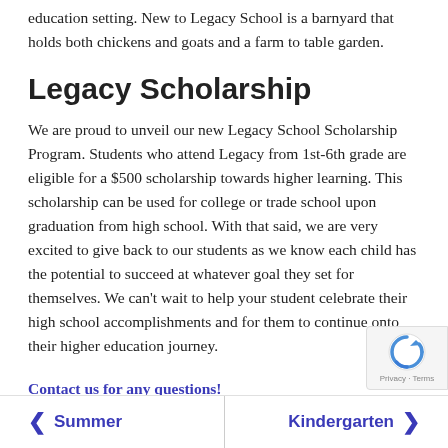education setting. New to Legacy School is a barnyard that holds both chickens and goats and a farm to table garden.
Legacy Scholarship
We are proud to unveil our new Legacy School Scholarship Program. Students who attend Legacy from 1st-6th grade are eligible for a $500 scholarship towards higher learning. This scholarship can be used for college or trade school upon graduation from high school. With that said, we are very excited to give back to our students as we know each child has the potential to succeed at whatever goal they set for themselves. We can't wait to help your student celebrate their high school accomplishments and for them to continue onto their higher education journey.
Contact us for any questions!
< Summer | Kindergarten >